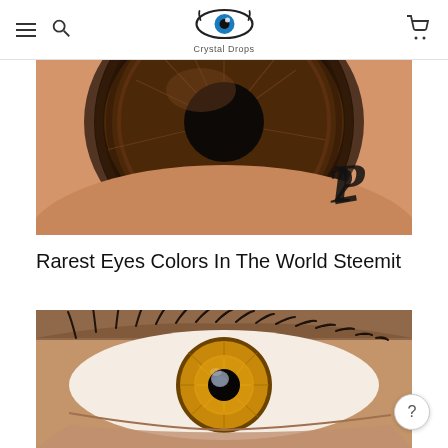Crystal Drops — navigation header with hamburger menu, search, logo, and cart icon
[Figure (photo): Extreme close-up macro photo of a brown/amber human eye iris with a signature '2P' watermark in the lower right corner]
Rarest Eyes Colors In The World Steemit
[Figure (photo): Extreme close-up macro photo of a golden/amber-yellow human eye with long black eyelashes visible at the top, showing vivid iris detail and a reflected landscape in the pupil]